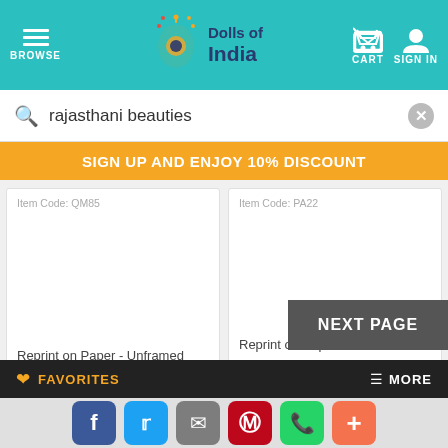BROWSE | Dolls of India | CART | SIGN IN
rajasthani beauties
SIGN UP AND ENJOY 10% DISCOUNT
Item Code: QM85
Reprint on Paper - Unframed
12.5 x 16.5 inches
AU$29.00
Item Code: PA22
Reprint on Paper - Unframed
11 x 8 inches
AU$22.00 6% off
AU$20.68 ( DEAL )
NEXT PAGE
FAVORITES | MORE